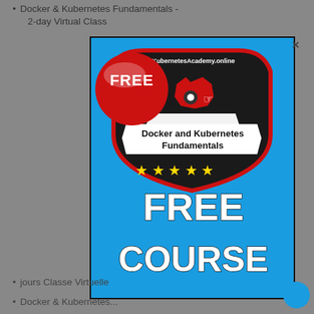Docker & Kubernetes Fundamentals - 2-day Virtual Class
[Figure (illustration): Modal popup showing a Kubernetes Academy online free course advertisement. Blue background with a shield badge logo showing 'Docker and Kubernetes Fundamentals' text and 5 gold stars, plus a red FREE button badge. Large white bold text reads 'FREE COURSE'.]
jours Classe Virtuelle
Docker & Kubernetes...